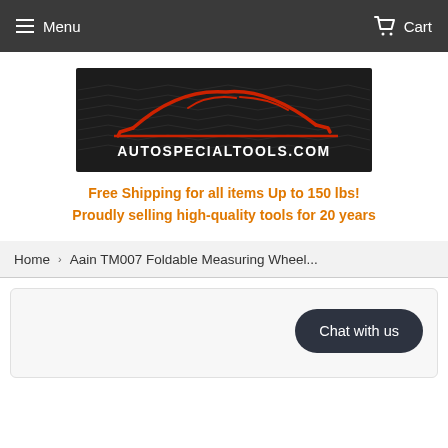Menu   Cart
[Figure (logo): AutoSpecialTools.com logo — dark background with red stylized car silhouette and white text reading AUTOSPECIALTOOLS.COM]
Free Shipping for all items Up to 150 lbs!
Proudly selling high-quality tools for 20 years
Home › Aain TM007 Foldable Measuring Wheel...
Chat with us